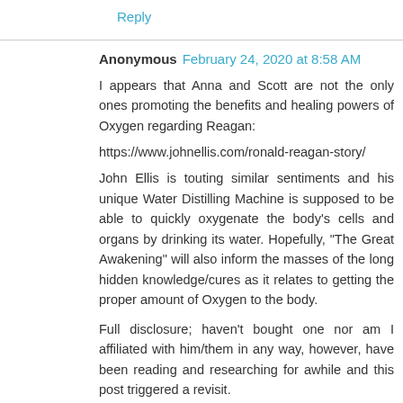Reply
Anonymous  February 24, 2020 at 8:58 AM
I appears that Anna and Scott are not the only ones promoting the benefits and healing powers of Oxygen regarding Reagan:
https://www.johnellis.com/ronald-reagan-story/
John Ellis is touting similar sentiments and his unique Water Distilling Machine is supposed to be able to quickly oxygenate the body's cells and organs by drinking its water. Hopefully, "The Great Awakening" will also inform the masses of the long hidden knowledge/cures as it relates to getting the proper amount of Oxygen to the body.
Full disclosure; haven't bought one nor am I affiliated with him/them in any way, however, have been reading and researching for awhile and this post triggered a revisit.
Reply